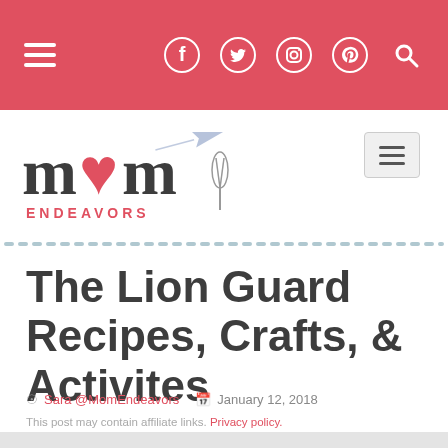Mom Endeavors — navigation bar with hamburger menu, Facebook, Twitter, Instagram, Pinterest, Search icons
[Figure (logo): Mom Endeavors blog logo with stylized 'mom' text incorporating a heart, airplane, and whisk illustration, with 'ENDEAVORS' subtitle in red]
The Lion Guard Recipes, Crafts, & Activites
Sara @MomEndeavors   January 12, 2018
This post may contain affiliate links. Privacy policy.